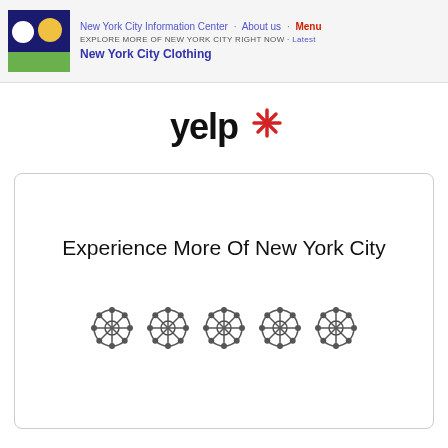New York City Information Center · About us · Menu
EXPLORE MORE OF NEW YORK CITY RIGHT NOW · Latest
New York City Clothing
[Figure (logo): Yelp logo — black 'yelp' wordmark with red starburst asterisk]
Experience More Of New York City
[Figure (illustration): Five decorative flower/snowflake icons in a row representing a 5-star rating system]